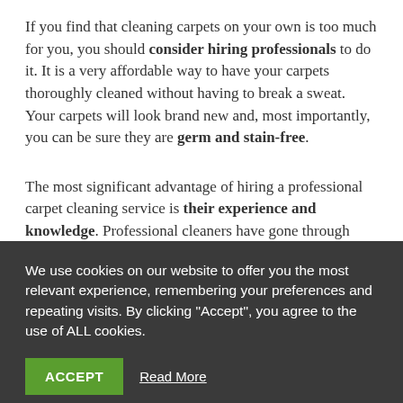If you find that cleaning carpets on your own is too much for you, you should consider hiring professionals to do it. It is a very affordable way to have your carpets thoroughly cleaned without having to break a sweat. Your carpets will look brand new and, most importantly, you can be sure they are germ and stain-free.
The most significant advantage of hiring a professional carpet cleaning service is their experience and knowledge. Professional cleaners have gone through extensive training and know exactly how to tackle any cleaning issue that might come their way.
We use cookies on our website to offer you the most relevant experience, remembering your preferences and repeating visits. By clicking "Accept", you agree to the use of ALL cookies.